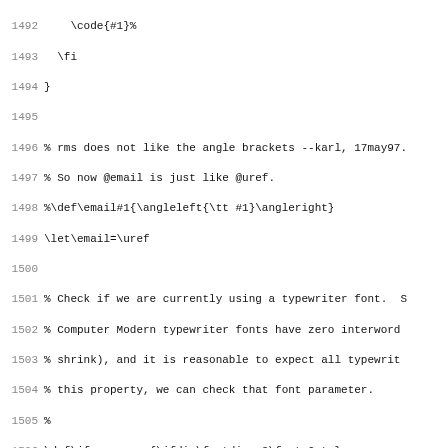Source code listing showing TeX/LaTeX macro definitions, lines 1492-1523
1492     \code{#1}%
1493   \fi
1494 }
1495
1496 % rms does not like the angle brackets --karl, 17may97.
1497 % So now @email is just like @uref.
1498 %\def\email#1{\angleleft{\tt #1}\angleright}
1499 \let\email=\uref
1500
1501 % Check if we are currently using a typewriter font.  S
1502 % Computer Modern typewriter fonts have zero interword
1503 % shrink), and it is reasonable to expect all typewrit
1504 % this property, we can check that font parameter.
1505 %
1506 \def\ifmonospace{\ifdim\fontdimen3\font=0pt }
1507
1508 % Typeset a dimension, e.g., `in' or `pt'.  The only re
1509 % argument is to make the input look right: @dmn{pt} in
1510 %
1511 \def\dmn#1{\thinspace #1}
1512
1513 \def\kbd#1{\def\look{#1}\expandafter\kbdfoo\look??\par}
1514
1515 % @l was never documented to mean ``switch to the Lisp
1516 % and it is not used as such in any manual I can find.
1517 % Polish suppressed-l.  --karl, 22sep96.
1518 %\def\l#1{{\li #1}\null}
1519
1520 % Explicit font changes: @r, @sc, undocumented @ii.
1521 \def\r#1{{\rm #1}}          % roman font
1522 \def\sc#1{{\smallcaps#1}}   % smallcaps font
1523 \def\ii#1{{\it #1}}          % italic font